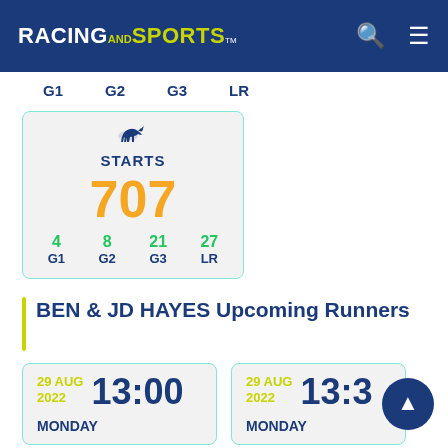RACING AND SPORTS TM
G1  G2  G3  LR
[Figure (infographic): Starts card showing horse racing statistics: STARTS 707, with G1: 4, G2: 8, G3: 21, LR: 27]
BEN & JD HAYES Upcoming Runners
29 AUG 2022  13:00  MONDAY
29 AUG 2022  13:3  MONDAY